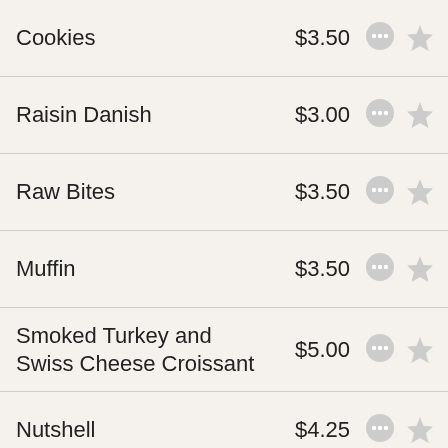Cookies $3.50
Raisin Danish $3.00
Raw Bites $3.50
Muffin $3.50
Smoked Turkey and Swiss Cheese Croissant $5.00
Nutshell $4.25
Merchandise
Embroidered Beanie $19.50
Post Cards $3.00
Straws $10.00
Short Sleeve Unisex T-Shirt